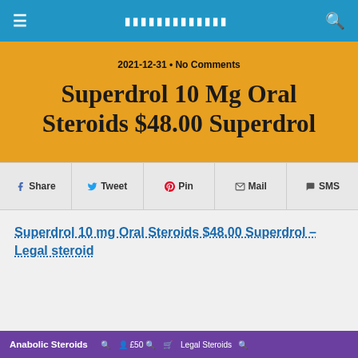≡  ▪▪▪▪▪▪▪▪▪▪▪▪▪  🔍
Superdrol 10 Mg Oral Steroids $48.00 Superdrol
2021-12-31 • No Comments
f Share  🐦 Tweet  📌 Pin  ✉ Mail  💬 SMS
Superdrol 10 mg Oral Steroids $48.00 Superdrol – Legal steroid
[Figure (screenshot): Partial purple banner at bottom of page showing Anabolic Steroids navigation]